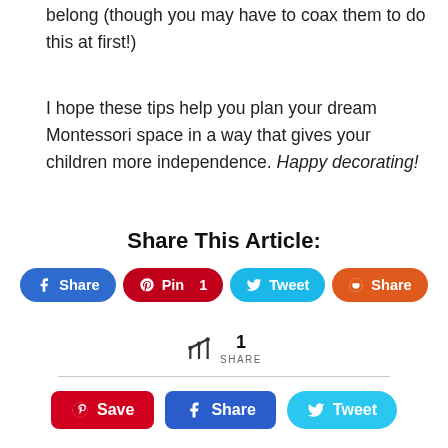belong (though you may have to coax them to do this at first!)
I hope these tips help you plan your dream Montessori space in a way that gives your children more independence. Happy decorating!
Share This Article:
[Figure (infographic): Social share buttons row: Facebook Share, Pinterest Pin 1, Twitter Tweet, Reddit Share]
[Figure (infographic): Share count: share icon with count 1 and label SHARE]
[Figure (infographic): Save/Share/Tweet buttons row: Pinterest Save, Facebook Share, Twitter Tweet]